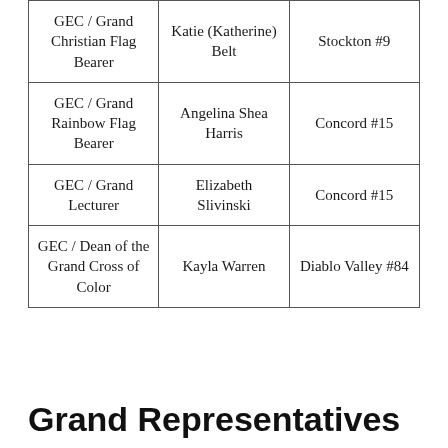| GEC / Grand Christian Flag Bearer | Katie (Katherine) Belt | Stockton #9 |
| GEC / Grand Rainbow Flag Bearer | Angelina Shea Harris | Concord #15 |
| GEC / Grand Lecturer | Elizabeth Slivinski | Concord #15 |
| GEC / Dean of the Grand Cross of Color | Kayla Warren | Diablo Valley #84 |
Grand Representatives